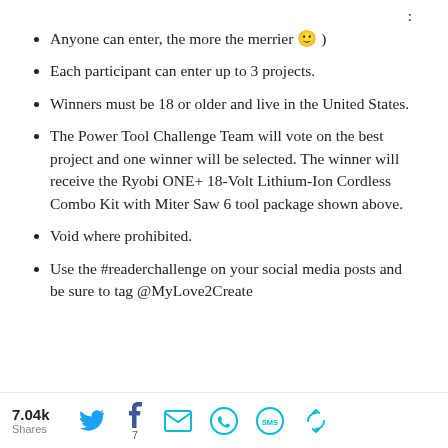:
Anyone can enter, the more the merrier 🙂 )
Each participant can enter up to 3 projects.
Winners must be 18 or older and live in the United States.
The Power Tool Challenge Team will vote on the best project and one winner will be selected. The winner will receive the Ryobi ONE+ 18-Volt Lithium-Ion Cordless Combo Kit with Miter Saw 6 tool package shown above.
Void where prohibited.
Use the #readerchallenge on your social media posts and be sure to tag @MyLove2Create
7.04k Shares  [Twitter] [Facebook 7] [Email] [WhatsApp] [SMS] [Share]